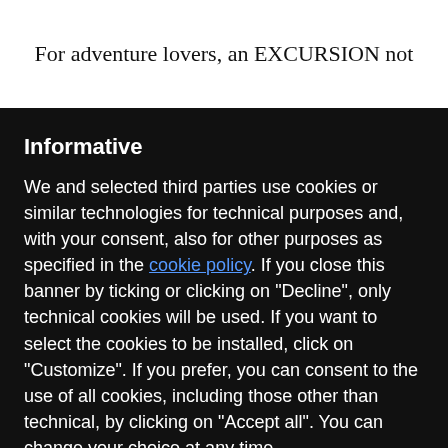For adventure lovers, an EXCURSION not
Informative
We and selected third parties use cookies or similar technologies for technical purposes and, with your consent, also for other purposes as specified in the cookie policy. If you close this banner by ticking or clicking on "Decline", only technical cookies will be used. If you want to select the cookies to be installed, click on "Customize". If you prefer, you can consent to the use of all cookies, including those other than technical, by clicking on "Accept all". You can change your choice at any time.
Reject
Accept All
Customize